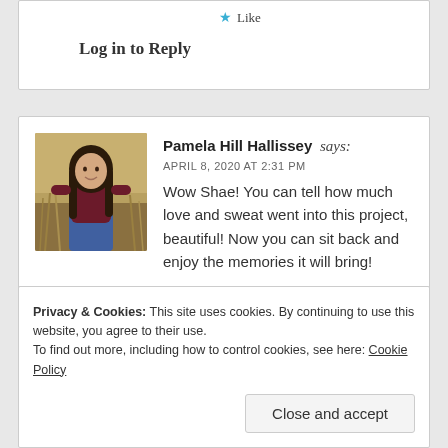Like
Log in to Reply
Pamela Hill Hallissey says:
APRIL 8, 2020 AT 2:31 PM
Wow Shae! You can tell how much love and sweat went into this project, beautiful! Now you can sit back and enjoy the memories it will bring!
Like
Log in to Reply
Privacy & Cookies: This site uses cookies. By continuing to use this website, you agree to their use.
To find out more, including how to control cookies, see here: Cookie Policy
Close and accept